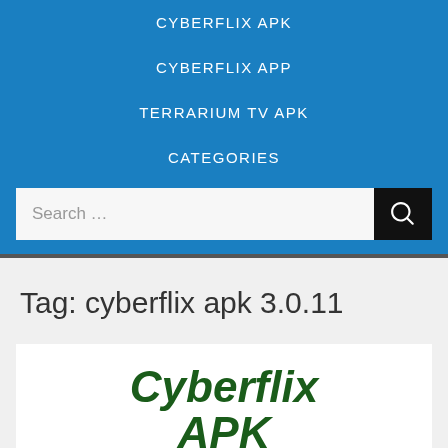CYBERFLIX APK
CYBERFLIX APP
TERRARIUM TV APK
CATEGORIES
Tag: cyberflix apk 3.0.11
[Figure (screenshot): Partial view of a Cyberflix APK logo/image card showing bold dark green italic text 'Cyberflix APK' on white background]